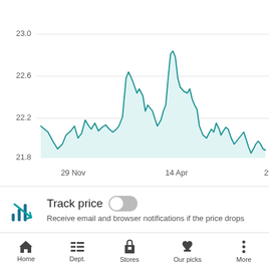[Figure (area-chart): Price history chart]
Track price — Receive email and browser notifications if the price drops
TRENDING PRODUCTS
Home  Dept.  Stores  Our picks  More